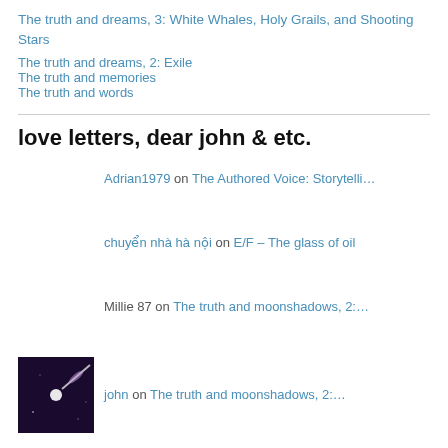The truth and dreams, 3: White Whales, Holy Grails, and Shooting Stars
The truth and dreams, 2: Exile
The truth and memories
The truth and words
love letters, dear john & etc.
Adrian1979 on The Authored Voice: Storytelli…
chuyển nhà hà nội on E/F – The glass of oil
Millie 87 on The truth and moonshadows, 2:…
[Figure (photo): Small square thumbnail image with dark purple/black background showing a comet or shooting star with a bright streak against a dark sky]
john on The truth and moonshadows, 2:…
Emilie Barriault on The truth and moonshadows, 2:…